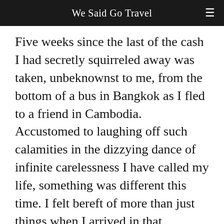We Said Go Travel
Five weeks since the last of the cash I had secretly squirreled away was taken, unbeknownst to me, from the bottom of a bus in Bangkok as I fled to a friend in Cambodia. Accustomed to laughing off such calamities in the dizzying dance of infinite carelessness I have called my life, something was different this time. I felt bereft of more than just things when I arrived in that corporeal city with nothing but a dollar fifty left to my name and the sweet savior who was willing to take me in for nothing in return. It felt like I was giving up.